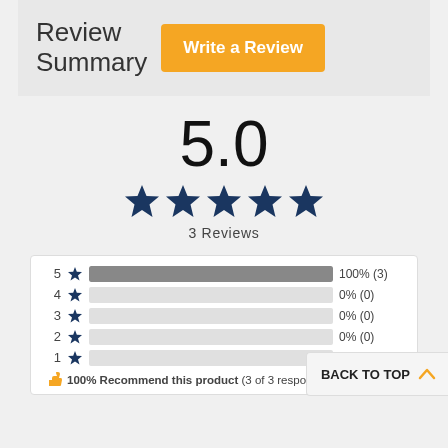Review Summary
Write a Review
5.0
3 Reviews
[Figure (bar-chart): Star Rating Distribution]
100% Recommend this product (3 of 3 responses)